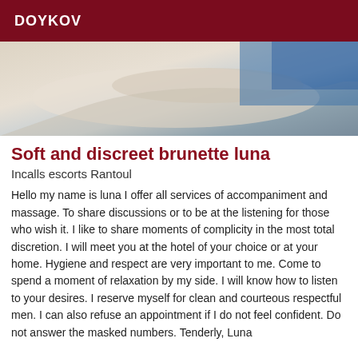DOYKOV
[Figure (photo): Close-up photo showing a person's arm/hand area with blue fabric visible, light skin tones against a light background]
Soft and discreet brunette luna
Incalls escorts Rantoul
Hello my name is luna I offer all services of accompaniment and massage. To share discussions or to be at the listening for those who wish it. I like to share moments of complicity in the most total discretion. I will meet you at the hotel of your choice or at your home. Hygiene and respect are very important to me. Come to spend a moment of relaxation by my side. I will know how to listen to your desires. I reserve myself for clean and courteous respectful men. I can also refuse an appointment if I do not feel confident. Do not answer the masked numbers. Tenderly, Luna